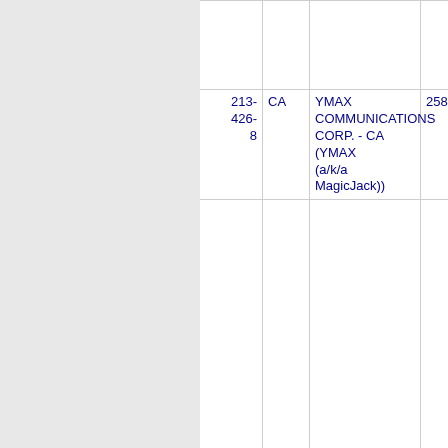| Number | State | Company | Code |
| --- | --- | --- | --- |
| 213-426-8 | CA | YMAX COMMUNICATIONS CORP. - CA (YMAX (a/k/a MagicJack)) | 258E L |
| Thousands block for 213-437 |  |  |  |
| 213-437-6 | CA | YMAX COMMUNICATIONS CORP. - CA (YMAX (a/k/a MagicJack)) | 258E L |